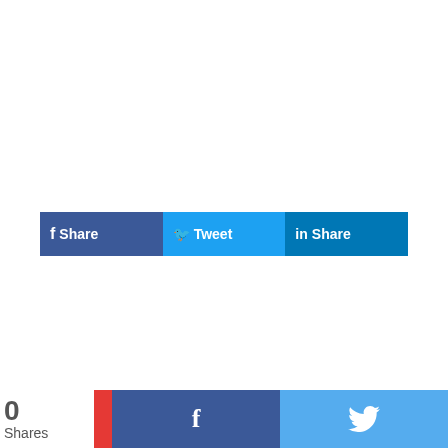[Figure (screenshot): Social share bar with Facebook Share, Tweet, and LinkedIn Share buttons in blue tones]
Name:
Your Name
Email:
you@domain.com
0 Shares — Facebook and Twitter share buttons at bottom